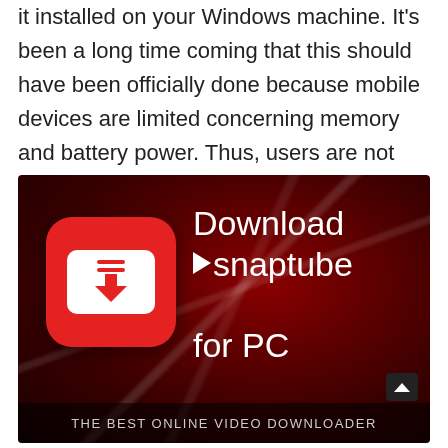it installed on your Windows machine. It's been a long time coming that this should have been officially done because mobile devices are limited concerning memory and battery power. Thus, users are not maximizing the full use of this app!
[Figure (screenshot): Advertisement banner for Snaptube for PC showing a red dark background with the Snaptube app icon (red rounded square with white download arrow icon) on the left, large white text reading 'Download snaptube for PC' on the right, and bottom bar reading 'THE BEST ONLINE VIDEO DOWNLOADER']